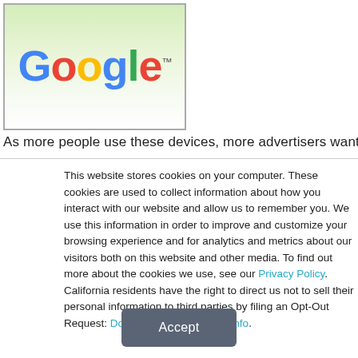[Figure (logo): Google logo on a green-to-white gradient background with a thin grey border. The word 'Google' is displayed in large colorful letters (blue G, red o, yellow o, blue g, green l, red e) with a TM superscript.]
As more people use these devices, more advertisers want to
This website stores cookies on your computer. These cookies are used to collect information about how you interact with our website and allow us to remember you. We use this information in order to improve and customize your browsing experience and for analytics and metrics about our visitors both on this website and other media. To find out more about the cookies we use, see our Privacy Policy. California residents have the right to direct us not to sell their personal information to third parties by filing an Opt-Out Request: Do Not Sell My Personal Info.
Accept